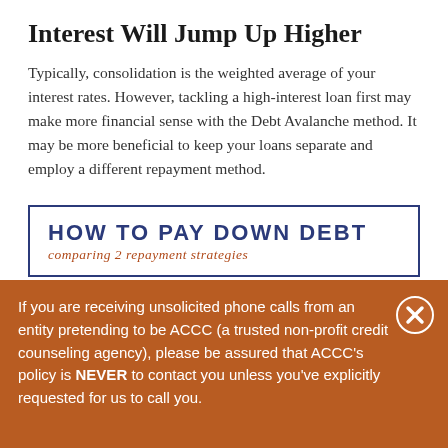Interest Will Jump Up Higher
Typically, consolidation is the weighted average of your interest rates. However, tackling a high-interest loan first may make more financial sense with the Debt Avalanche method. It may be more beneficial to keep your loans separate and employ a different repayment method.
[Figure (infographic): Promotional banner with text 'HOW TO PAY DOWN DEBT' in bold blue uppercase letters and subtitle 'comparing 2 repayment strategies' in italic orange script, bordered by a blue rectangle.]
If you are receiving unsolicited phone calls from an entity pretending to be ACCC (a trusted non-profit credit counseling agency), please be assured that ACCC’s policy is NEVER to contact you unless you’ve explicitly requested for us to call you.